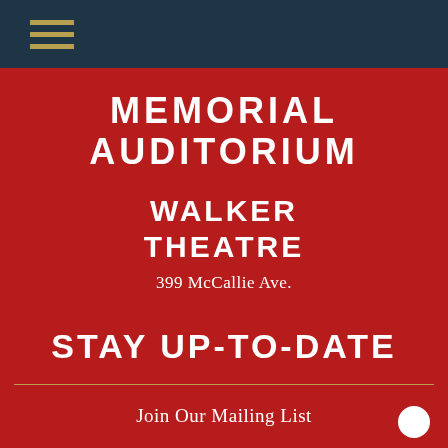[Figure (other): Dark teal navigation bar with three horizontal gold hamburger menu lines in the top-left corner]
MEMORIAL AUDITORIUM
WALKER THEATRE
399 McCallie Ave.
STAY UP-TO-DATE
Join Our Mailing List